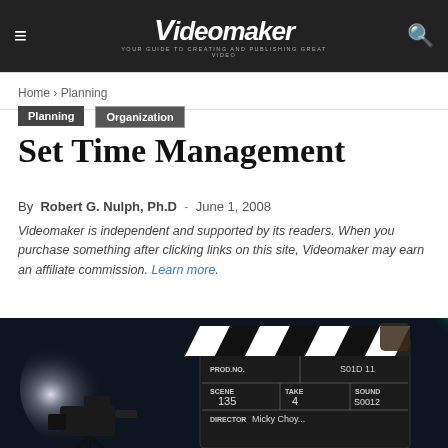Videomaker — YOUR GUIDE TO CREATING AND PUBLISHING GREAT VIDEO
Home › Planning
Planning
Organization
Set Time Management
By Robert G. Nulph, Ph.D - June 1, 2008
Videomaker is independent and supported by its readers. When you purchase something after clicking links on this site, Videomaker may earn an affiliate commission. Learn more.
[Figure (photo): A film clapperboard held up in front of a camera on a dark stage with dramatic backlighting. The clapperboard shows PROD.NO., SCENE 135, TAKE 4, SOUND S0012, DIRECTOR fields. Background shows bright light source and teal/cyan lighting.]